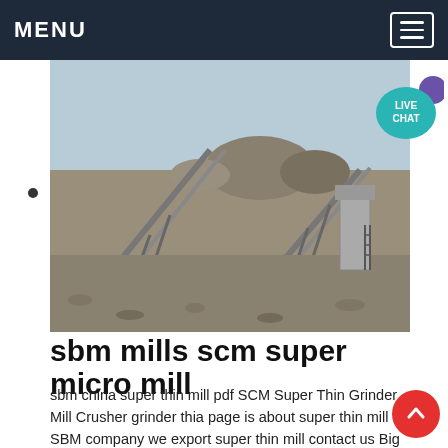MENU
[Figure (photo): Outdoor industrial mining/crushing equipment site with conveyor belts, large machinery, and gravel/stone piles under a clear sky.]
sbm mills scm super micro mill
sbm china super thin mill pdf SCM Super Thin Grinder Mill Crusher grinder thia page is about super thin mill from SBM company we export super thin mill contact us Big materials are hammer crusher pc400x600 sbm hammer mill crusher pdf file China Mining Equipment CO Ltd hammer crusher from sbm heavy industry this page get price